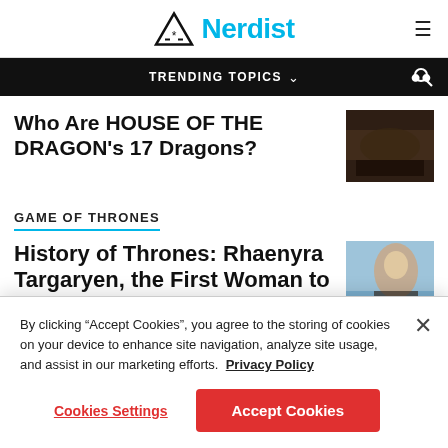Nerdist
TRENDING TOPICS
Who Are HOUSE OF THE DRAGON's 17 Dragons?
[Figure (photo): Dark cave/rock image thumbnail for House of the Dragon article]
GAME OF THRONES
History of Thrones: Rhaenyra Targaryen, the First Woman to C
[Figure (photo): Photo of a silver-haired woman (Rhaenyra Targaryen character) against blue sky]
By clicking “Accept Cookies”, you agree to the storing of cookies on your device to enhance site navigation, analyze site usage, and assist in our marketing efforts.  Privacy Policy
Cookies Settings
Accept Cookies